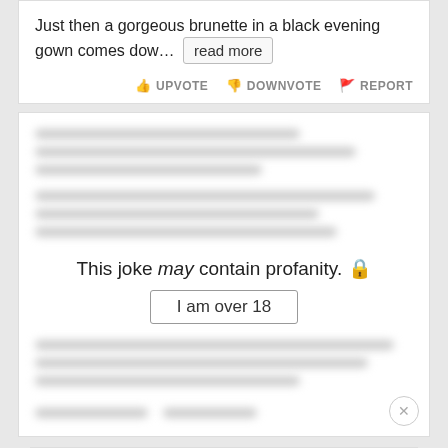Just then a gorgeous brunette in a black evening gown comes dow… read more
UPVOTE  DOWNVOTE  REPORT
[Figure (screenshot): Blurred/redacted content lines above and below a profanity warning]
This joke may contain profanity. 🔒
I am over 18
Leesburg OPEN 10AM–7PM 241 Fort Evans Rd NE, Leesburg
I bet ne.
The s